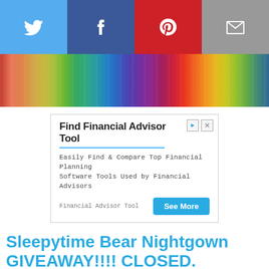[Figure (infographic): Social sharing bar with Twitter (blue), Facebook (dark blue), Pinterest (red), and Email (gray) buttons with icons]
[Figure (photo): Colorful ribbon/spool background header image with gradient rainbow colors]
[Figure (infographic): Advertisement box: Find Financial Advisor Tool. Easily Find & Compare Top Financial Planning Software Tools Used by Financial Advisors. Financial Advisor Tool. See More button.]
Sleepytime Bear Nightgown GIVEAWAY!!!! CLOSED.
September 6, 2008
[Figure (photo): Photo of wooden furniture/cabinet interior, warm brown tones]
When I was a little girl my mother earned extra money selling her woodcarvings. As a result I was given many
Christmas and birthday gifts of wooden swans, buttons, and Santas, and